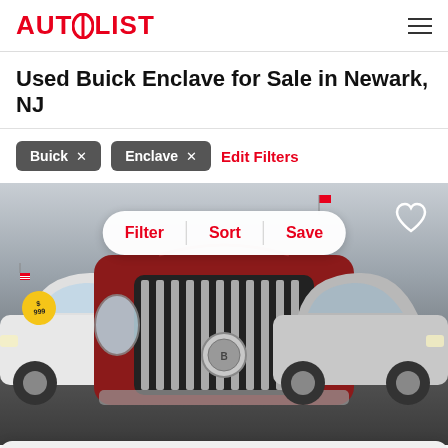AUTOLIST
Used Buick Enclave for Sale in Newark, NJ
Buick ×
Enclave ×
Edit Filters
[Figure (photo): Car lot photo showing a red Buick Enclave in the center foreground, a white sedan on the left, and a silver car on the right. Overlaid UI shows Filter, Sort, Save pill button and a heart icon. Partially visible listing card at bottom.]